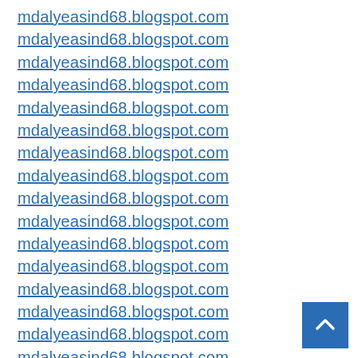mdalyeasind68.blogspot.com
mdalyeasind68.blogspot.com
mdalyeasind68.blogspot.com
mdalyeasind68.blogspot.com
mdalyeasind68.blogspot.com
mdalyeasind68.blogspot.com
mdalyeasind68.blogspot.com
mdalyeasind68.blogspot.com
mdalyeasind68.blogspot.com
mdalyeasind68.blogspot.com
mdalyeasind68.blogspot.com
mdalyeasind68.blogspot.com
mdalyeasind68.blogspot.com
mdalyeasind68.blogspot.com
mdalyeasind68.blogspot.com
mdalyeasind68.blogspot.com
mdalyeasind68.blogspot.com